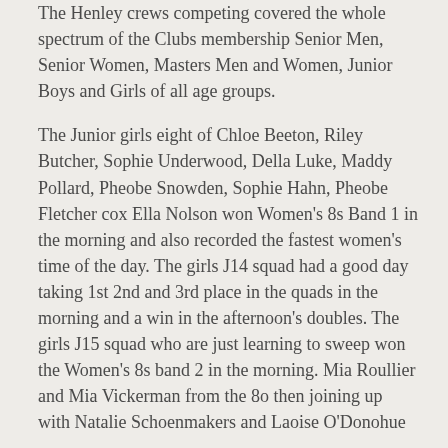The Henley crews competing covered the whole spectrum of the Clubs membership Senior Men, Senior Women, Masters Men and Women, Junior Boys and Girls of all age groups.
The Junior girls eight of Chloe Beeton, Riley Butcher, Sophie Underwood, Della Luke, Maddy Pollard, Pheobe Snowden, Sophie Hahn, Pheobe Fletcher cox Ella Nolson won Women's 8s Band 1 in the morning and also recorded the fastest women's time of the day. The girls J14 squad had a good day taking 1st 2nd and 3rd place in the quads in the morning and a win in the afternoon's doubles. The girls J15 squad who are just learning to sweep won the Women's 8s band 2 in the morning. Mia Roullier and Mia Vickerman from the 8o then joining up with Natalie Schoenmakers and Laoise O'Donohue